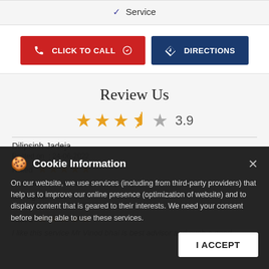✓ Service
CLICK TO CALL
DIRECTIONS
Review Us
3.9
Dilipsinh Jadeja
Posted on  : 24-06-2022
Rated ★★★★★
Very good service. Staff is very helpful.
Suvagiva Smit
Posted on  : 14-06-2022
Rated ★★★★★
I like this service Mr Vinod bhai is best advisor and such a good
Cookie Information
On our website, we use services (including from third-party providers) that help us to improve our online presence (optimization of website) and to display content that is geared to their interests. We need your consent before being able to use these services.
I ACCEPT